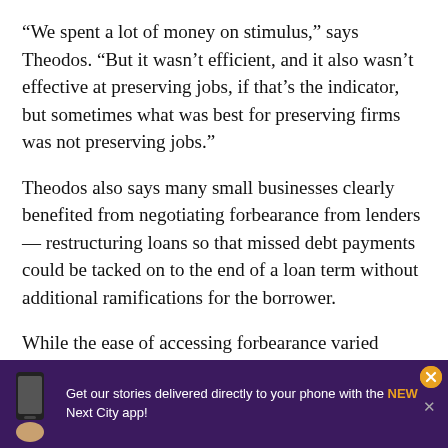“We spent a lot of money on stimulus,” says Theodos. “But it wasn’t efficient, and it also wasn’t effective at preserving jobs, if that’s the indicator, but sometimes what was best for preserving firms was not preserving jobs.”
Theodos also says many small businesses clearly benefited from negotiating forbearance from lenders — restructuring loans so that missed debt payments could be tacked on to the end of a loan term without additional ramifications for the borrower.
While the ease of accessing forbearance varied largely depending on the lender, it has held that banki... nand... for
[Figure (other): Advertisement banner for Next City app: purple background with phone illustration, text reading 'Get our stories delivered directly to your phone with the NEW Next City app!', orange close button and X.]